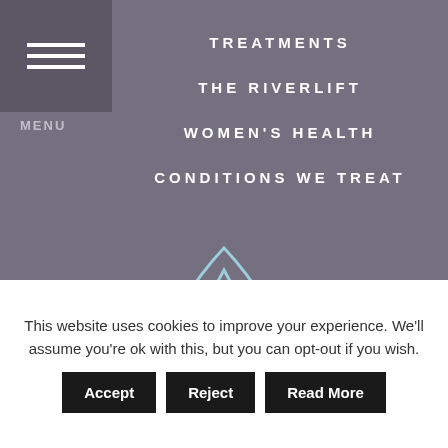MENU
TREATMENTS
THE RIVERLIFT
WOMEN'S HEALTH
CONDITIONS WE TREAT
[Figure (logo): River logo: teardrop/water-drop outline containing a triangle and a spiral wave motif, drawn in light blue/teal lines on grey background]
RIVER
This website uses cookies to improve your experience. We'll assume you're ok with this, but you can opt-out if you wish.
Accept   Reject   Read More